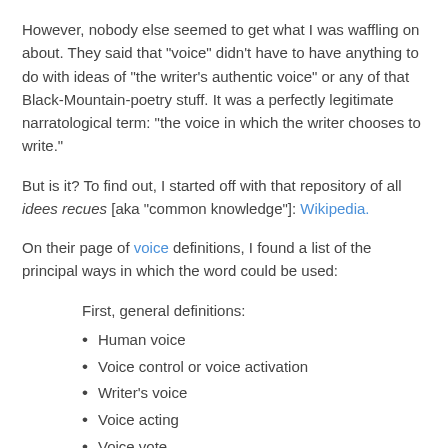However, nobody else seemed to get what I was waffling on about. They said that "voice" didn't have to have anything to do with ideas of "the writer's authentic voice" or any of that Black-Mountain-poetry stuff. It was a perfectly legitimate narratological term: "the voice in which the writer chooses to write."
But is it? To find out, I started off with that repository of all idees recues [aka "common knowledge"]: Wikipedia.
On their page of voice definitions, I found a list of the principal ways in which the word could be used:
First, general definitions:
Human voice
Voice control or voice activation
Writer's voice
Voice acting
Voice vote